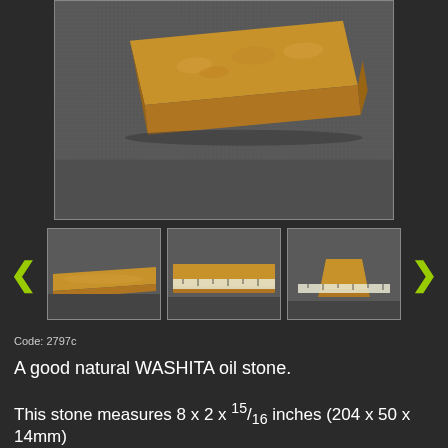[Figure (photo): Main product photo of a natural Washita oil stone — a rectangular golden-tan sharpening stone shown at an angle on a dark grey textured background]
[Figure (photo): Thumbnail 1: Side view of the Washita oil stone showing its profile and slight warp on dark grey background]
[Figure (photo): Thumbnail 2: Top/side view of the Washita oil stone with a ruler showing its width measurement on dark grey background]
[Figure (photo): Thumbnail 3: End view of the Washita oil stone with a ruler showing width measurement, stone appears trapezoidal from this angle]
Code: 2797c
A good natural WASHITA oil stone.
This stone measures 8 x 2 x 15/16 inches (204 x 50 x 14mm)